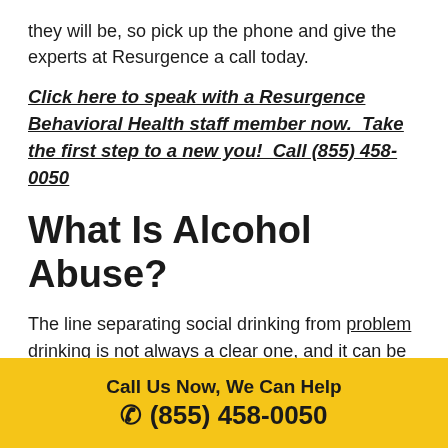they will be, so pick up the phone and give the experts at Resurgence a call today.
Click here to speak with a Resurgence Behavioral Health staff member now.  Take the first step to a new you!  Call (855) 458-0050
What Is Alcohol Abuse?
The line separating social drinking from problem drinking is not always a clear one, and it can be difficult for individuals and their loved ones to know what side of the line they fall on. Even so, if you suspect that you or someone you care about
Call Us Now, We Can Help
☎ (855) 458-0050